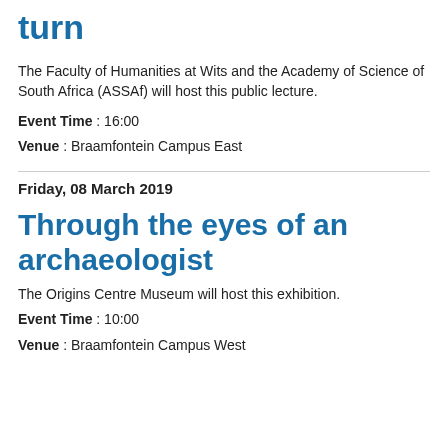turn
The Faculty of Humanities at Wits and the Academy of Science of South Africa (ASSAf) will host this public lecture.
Event Time : 16:00
Venue : Braamfontein Campus East
Friday, 08 March 2019
Through the eyes of an archaeologist
The Origins Centre Museum will host this exhibition.
Event Time : 10:00
Venue : Braamfontein Campus West